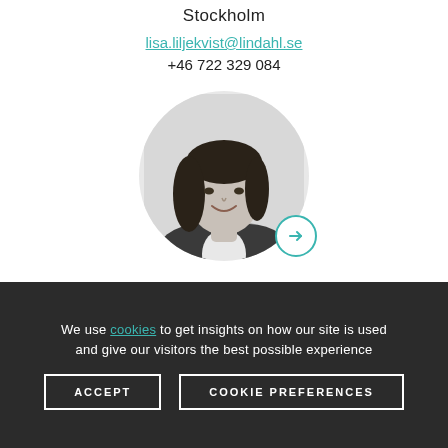Stockholm
lisa.liljekvist@lindahl.se
+46 722 329 084
[Figure (photo): Black and white circular portrait photo of a smiling woman with long dark hair wearing a white top and dark blazer, with a teal arrow button at bottom right]
We use cookies to get insights on how our site is used and give our visitors the best possible experience
ACCEPT
COOKIE PREFERENCES